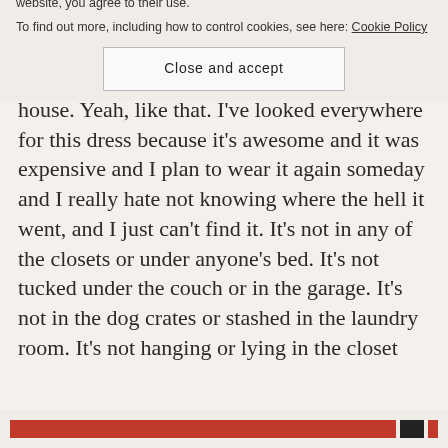drunk, and you were going to bed and so you took it off nicely and put it somewhere, but that place obviously wasn't anywhere in your house. Yeah, like that. I've looked everywhere for this dress because it's awesome and it was expensive and I plan to wear it again someday and I really hate not knowing where the hell it went, and I just can't find it. It's not in any of the closets or under anyone's bed. It's not tucked under the couch or in the garage. It's not in the dog crates or stashed in the laundry room. It's not hanging or lying in the closet
Privacy & Cookies: This site uses cookies. By continuing to use this website, you agree to their use.
To find out more, including how to control cookies, see here: Cookie Policy
Close and accept